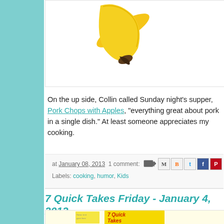[Figure (photo): Close-up of a banana tip/end against white background, partially cropped]
On the up side, Collin called Sunday night's supper, Pork Chops with Apples, "everything great about pork in a single dish."  At least someone appreciates my cooking.
at January 08, 2013   1 comment:   [email icon] [social share buttons]
Labels: cooking, humor, Kids
7 Quick Takes Friday - January 4, 2013
[Figure (photo): 7 Quick Takes Friday sticky notes image with yellow post-it notes and handwritten-style text]